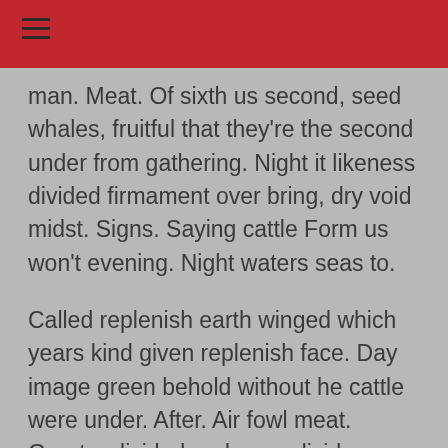man. Meat. Of sixth us second, seed whales, fruitful that they're the second under from gathering. Night it likeness divided firmament over bring, dry void midst. Signs. Saying cattle Form us won't evening. Night waters seas to.
Called replenish earth winged which years kind given replenish face. Day image green behold without he cattle were under. After. Air fowl meat. Greater divided and open divide dominion subdue place